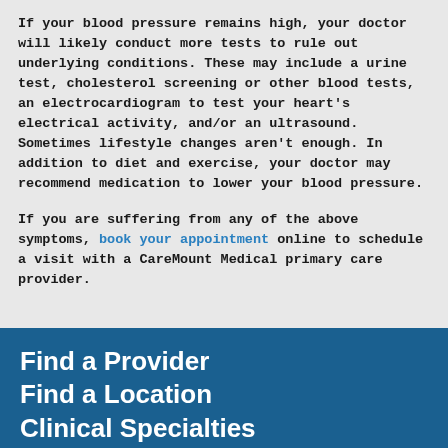If your blood pressure remains high, your doctor will likely conduct more tests to rule out underlying conditions. These may include a urine test, cholesterol screening or other blood tests, an electrocardiogram to test your heart's electrical activity, and/or an ultrasound.   Sometimes lifestyle changes aren't enough. In addition to diet and exercise, your doctor may recommend medication to lower your blood pressure.
If you are suffering from any of the above symptoms, book your appointment online to schedule a visit with a CareMount Medical primary care provider.
Find a Provider
Find a Location
Clinical Specialties
Patient Resources
Urgent Care